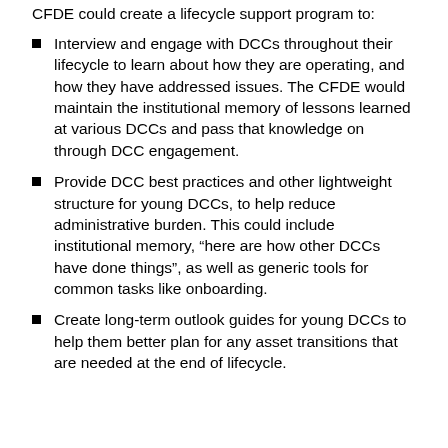CFDE could create a lifecycle support program to:
Interview and engage with DCCs throughout their lifecycle to learn about how they are operating, and how they have addressed issues. The CFDE would maintain the institutional memory of lessons learned at various DCCs and pass that knowledge on through DCC engagement.
Provide DCC best practices and other lightweight structure for young DCCs, to help reduce administrative burden. This could include institutional memory, “here are how other DCCs have done things”, as well as generic tools for common tasks like onboarding.
Create long-term outlook guides for young DCCs to help them better plan for any asset transitions that are needed at the end of lifecycle.